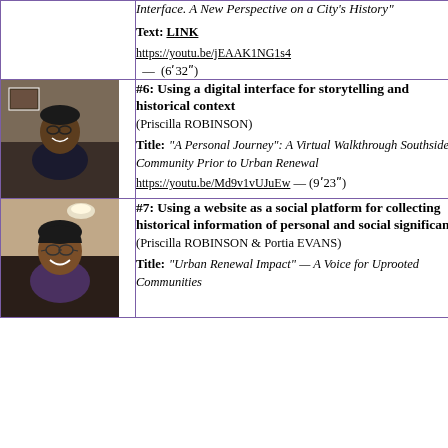Interface. A New Perspective on a City's History"
Text: LINK
https://youtu.be/jEAAK1NG1s4
— (6'32")
[Figure (photo): Headshot photo of Priscilla Robinson, a woman with glasses smiling, in a video call setting]
#6: Using a digital interface for storytelling and historical context
(Priscilla ROBINSON)
Title: "A Personal Journey": A Virtual Walkthrough Southside Community Prior to Urban Renewal
https://youtu.be/Md9v1vUJuEw — (9'23")
[Figure (photo): Headshot photo of a woman smiling, in a video call setting]
#7: Using a website as a social platform for collecting historical information of personal and social significance
(Priscilla ROBINSON & Portia EVANS)
Title: "Urban Renewal Impact" — A Voice for Uprooted Communities